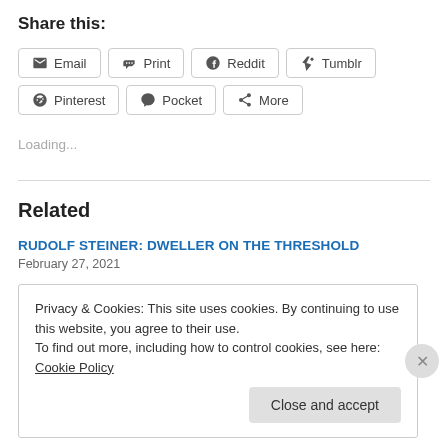Share this:
Email | Print | Reddit | Tumblr | Pinterest | Pocket | More
Loading...
Related
RUDOLF STEINER: DWELLER ON THE THRESHOLD
February 27, 2021
Privacy & Cookies: This site uses cookies. By continuing to use this website, you agree to their use. To find out more, including how to control cookies, see here: Cookie Policy